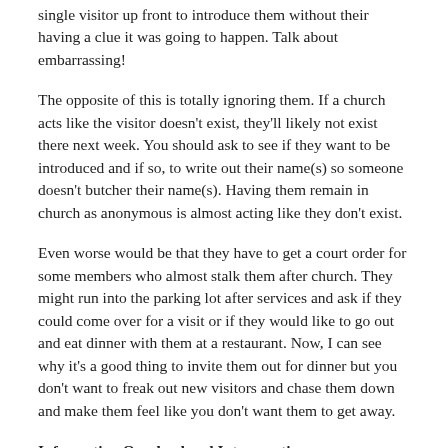single visitor up front to introduce them without their having a clue it was going to happen. Talk about embarrassing!
The opposite of this is totally ignoring them. If a church acts like the visitor doesn't exist, they'll likely not exist there next week. You should ask to see if they want to be introduced and if so, to write out their name(s) so someone doesn't butcher their name(s). Having them remain in church as anonymous is almost acting like they don't exist.
Even worse would be that they have to get a court order for some members who almost stalk them after church. They might run into the parking lot after services and ask if they could come over for a visit or if they would like to go out and eat dinner with them at a restaurant. Now, I can see why it's a good thing to invite them out for dinner but you don't want to freak out new visitors and chase them down and make them feel like you don't want them to get away.
Information Overload and Interrogation
Some people may have felt after visiting a new church like they were interrogated because someone may have asked them about their beliefs which could come across like this: do you believe in